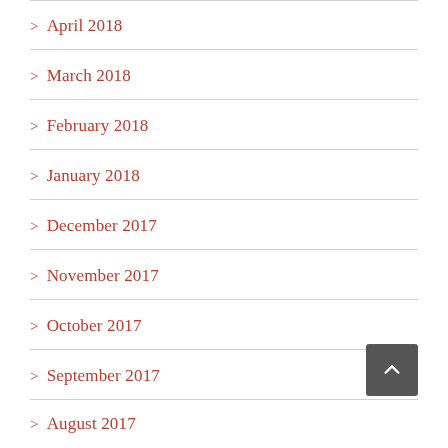> April 2018
> March 2018
> February 2018
> January 2018
> December 2017
> November 2017
> October 2017
> September 2017
> August 2017